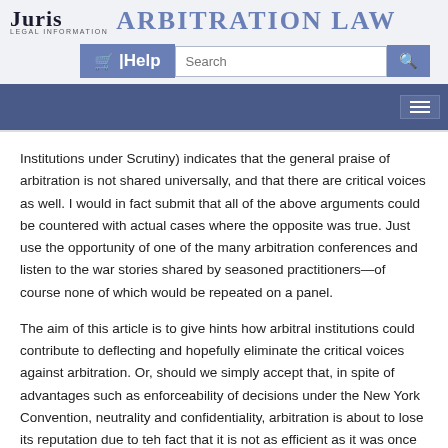JURIS LEGAL INFORMATION — Arbitration Law
Institutions under Scrutiny) indicates that the general praise of arbitration is not shared universally, and that there are critical voices as well. I would in fact submit that all of the above arguments could be countered with actual cases where the opposite was true. Just use the opportunity of one of the many arbitration conferences and listen to the war stories shared by seasoned practitioners—of course none of which would be repeated on a panel.
The aim of this article is to give hints how arbitral institutions could contribute to deflecting and hopefully eliminate the critical voices against arbitration. Or, should we simply accept that, in spite of advantages such as enforceability of decisions under the New York Convention, neutrality and confidentiality, arbitration is about to lose its reputation due to teh fact that it is not as efficient as it was once said to be?
Measuring Reception & Beyond